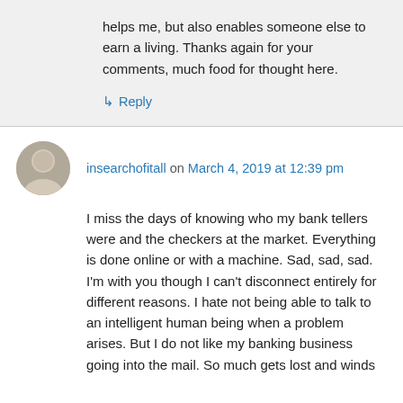helps me, but also enables someone else to earn a living. Thanks again for your comments, much food for thought here.
↳ Reply
insearchofitall on March 4, 2019 at 12:39 pm
I miss the days of knowing who my bank tellers were and the checkers at the market. Everything is done online or with a machine. Sad, sad, sad. I'm with you though I can't disconnect entirely for different reasons. I hate not being able to talk to an intelligent human being when a problem arises. But I do not like my banking business going into the mail. So much gets lost and winds